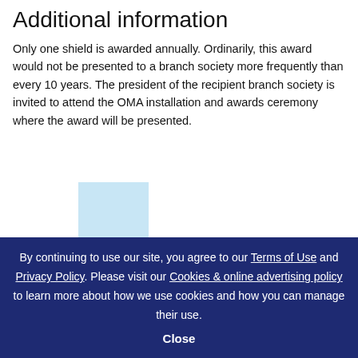Additional information
Only one shield is awarded annually. Ordinarily, this award would not be presented to a branch society more frequently than every 10 years. The president of the recipient branch society is invited to attend the OMA installation and awards ceremony where the award will be presented.
[Figure (illustration): Light blue rectangle shape, partially visible, appearing to be part of a larger image or graphic element.]
By continuing to use our site, you agree to our Terms of Use and Privacy Policy. Please visit our Cookies & online advertising policy to learn more about how we use cookies and how you can manage their use. Close